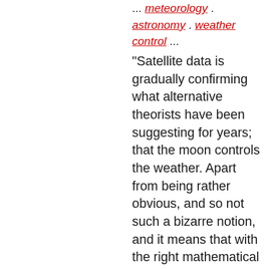... meteorology . astronomy . weather control ...
"Satellite data is gradually confirming what alternative theorists have been suggesting for years; that the moon controls the weather. Apart from being rather obvious, and so not such a bizarre notion, and it means that with the right mathematical techniques, weather can be predicted way into the future. Stone circles like Stonehenge, said to be at least 4,000